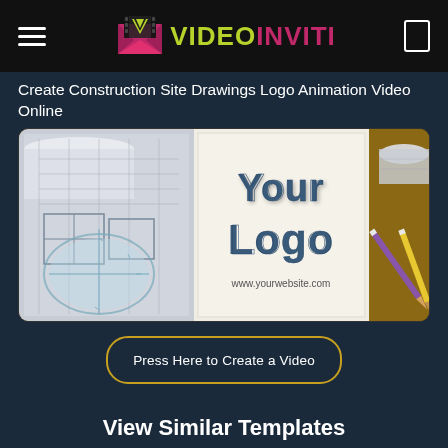VIDEO INVITI
Create Construction Site Drawings Logo Animation Video Online
[Figure (screenshot): Video template preview showing construction site drawings with a protractor, rolled blueprints, pencils on a wooden desk. Center shows a white card with 'Your Logo' in large bold blue 3D text and 'www.yourwebsite.com' below it.]
Press Here to Create a Video
View Similar Templates